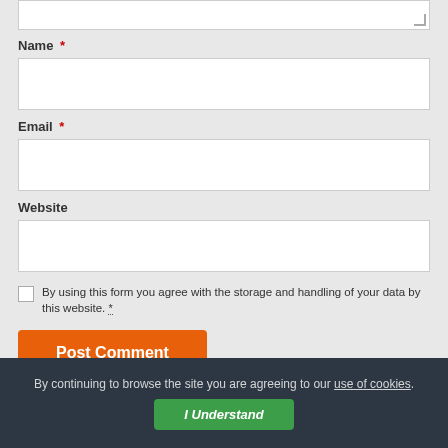[Figure (screenshot): Partial text area input field (top of comment box) with resize handle in bottom-right corner]
Name *
[Figure (screenshot): Name text input field (empty, white background)]
Email *
[Figure (screenshot): Email text input field (empty, white background)]
Website
[Figure (screenshot): Website text input field (empty, white background)]
By using this form you agree with the storage and handling of your data by this website. *
[Figure (screenshot): Orange 'Post Comment' button]
By continuing to browse the site you are agreeing to our use of cookies.
[Figure (screenshot): Green 'I Understand' button in cookie consent banner]